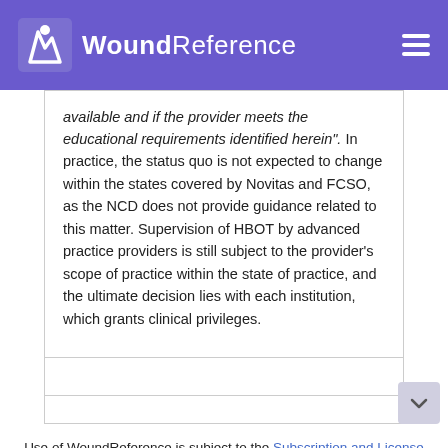WoundReference
available and if the provider meets the educational requirements identified herein". In practice, the status quo is not expected to change within the states covered by Novitas and FCSO, as the NCD does not provide guidance related to this matter. Supervision of HBOT by advanced practice providers is still subject to the provider's scope of practice within the state of practice, and the ultimate decision lies with each institution, which grants clinical privileges.
Use of WoundReference is subject to the Subscription and License Agreement.
NOTE: This is a controlled document. This document is not a substitute for proper training, experience, and exercising of professional judgment. W every effort has been made to ensure the accuracy of the contents, ne